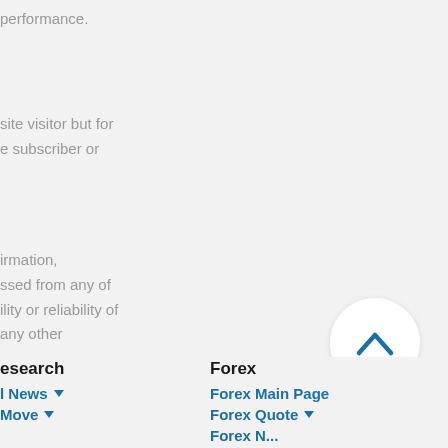performance.
site visitor but for
e subscriber or
irmation,
ssed from any of
ility or reliability of
any other
[Figure (other): Scroll-to-top circular button with upward chevron arrow in blue]
Research   Forex
I News ▼   Forex Main Page
Move ▼   Forex Quote ▼
Forex N...